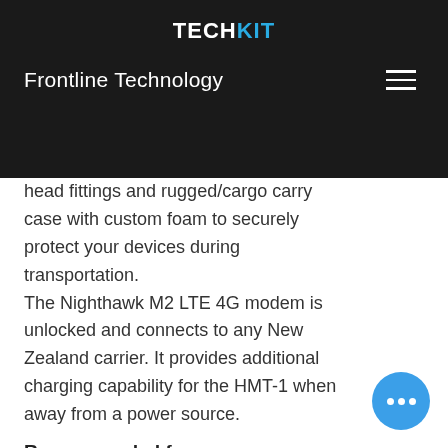TECHKIT
Frontline Technology
head fittings and rugged/cargo carry case with custom foam to securely protect your devices during transportation. The Nighthawk M2 LTE 4G modem is unlocked and connects to any New Zealand carrier. It provides additional charging capability for the HMT-1 when away from a power source.
Recommended for:
Field service workers
Dealer service technicians
Tradies
Maintenance and repair